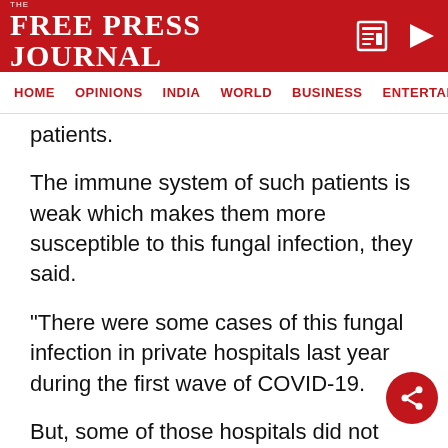THE FREE PRESS JOURNAL
HOME | OPINIONS | INDIA | WORLD | BUSINESS | ENTERTAIN
patients.
The immune system of such patients is weak which makes them more susceptible to this fungal infection, they said.
"There were some cases of this fungal infection in private hospitals last year during the first wave of COVID-19.
But, some of those hospitals did not inform the state government or the ICMR about it," a state health
ADVERTISEMENT